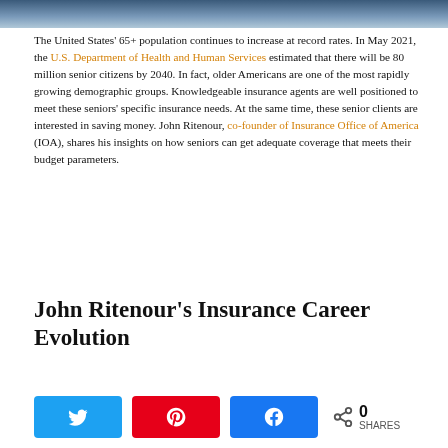[Figure (photo): Top portion of an image, likely showing a person, visible as a dark blue/grey banner strip at the top of the page.]
The United States' 65+ population continues to increase at record rates. In May 2021, the U.S. Department of Health and Human Services estimated that there will be 80 million senior citizens by 2040. In fact, older Americans are one of the most rapidly growing demographic groups. Knowledgeable insurance agents are well positioned to meet these seniors' specific insurance needs. At the same time, these senior clients are interested in saving money. John Ritenour, co-founder of Insurance Office of America (IOA), shares his insights on how seniors can get adequate coverage that meets their budget parameters.
John Ritenour's Insurance Career Evolution
[Figure (infographic): Social share bar with Twitter, Pinterest, and Facebook share buttons, a share icon, count of 0, and SHARES label.]